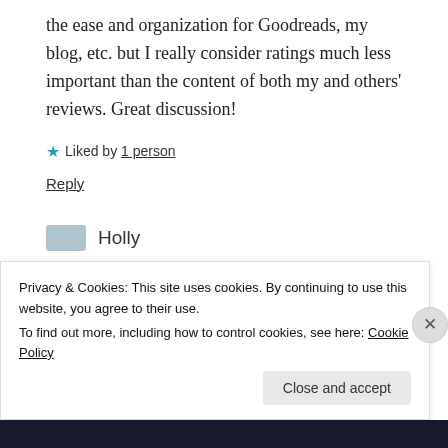the ease and organization for Goodreads, my blog, etc. but I really consider ratings much less important than the content of both my and others' reviews. Great discussion!
★ Liked by 1 person
Reply
Holly
Privacy & Cookies: This site uses cookies. By continuing to use this website, you agree to their use.
To find out more, including how to control cookies, see here: Cookie Policy
Close and accept